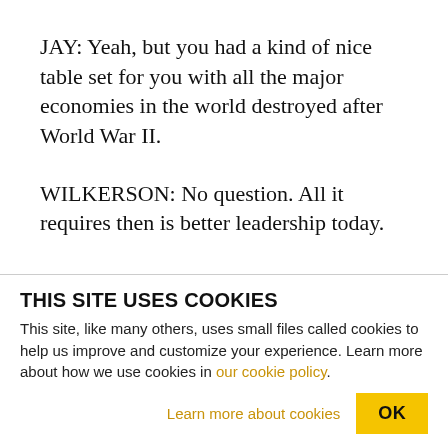JAY: Yeah, but you had a kind of nice table set for you with all the major economies in the world destroyed after World War II.
WILKERSON: No question. All it requires then is better leadership today.
JAY: No, not–.
WILKERSON: Are you saying that the dominion of
THIS SITE USES COOKIES
This site, like many others, uses small files called cookies to help us improve and customize your experience. Learn more about how we use cookies in our cookie policy.
Learn more about cookies
OK